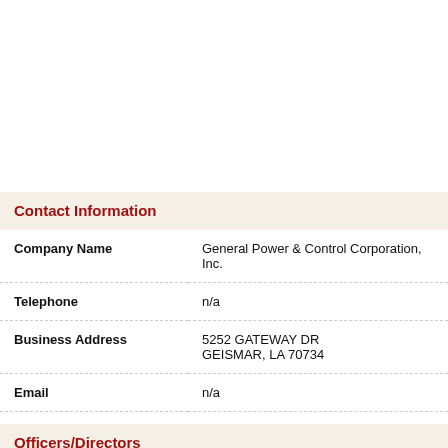Contact Information
| Field | Value |
| --- | --- |
| Company Name | General Power & Control Corporation, Inc. |
| Telephone | n/a |
| Business Address | 5252 GATEWAY DR
GEISMAR, LA 70734 |
| Email | n/a |
Officers/Directors